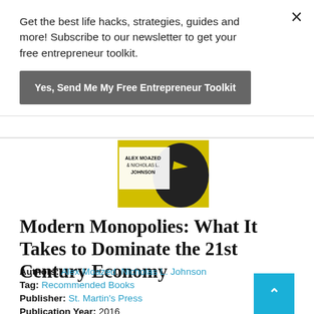Get the best life hacks, strategies, guides and more! Subscribe to our newsletter to get your free entrepreneur toolkit.
Yes, Send Me My Free Entrepreneur Toolkit
[Figure (photo): Book cover of Modern Monopolies showing authors Alex Moazed & Nicholas L. Johnson with yellow and black bird illustration]
Modern Monopolies: What It Takes to Dominate the 21st Century Economy
Authors: Alex Moazed, Nicholas L. Johnson
Tag: Recommended Books
Publisher: St. Martin's Press
Publication Year: 2016
ASIN: B017RC8CBC
ISBN: 1250091896